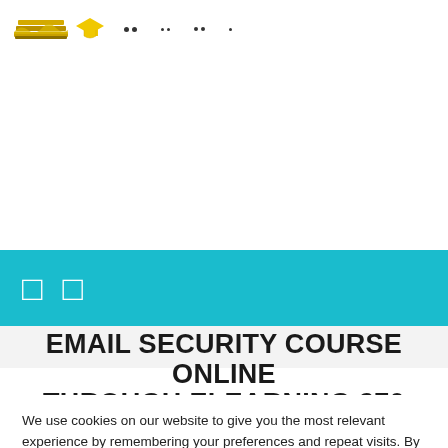[Navigation bar with logo, graduation hat icon, and nav links]
[Figure (screenshot): Teal/cyan navigation banner with two bracket icons]
EMAIL SECURITY COURSE ONLINE THROUGH ELEARNING 270
We use cookies on our website to give you the most relevant experience by remembering your preferences and repeat visits. By clicking “Accept All”, you consent to the use of ALL the cookies. However, you may visit "Cookie Settings" to provide a controlled consent.
Cookie Settings | Accept All